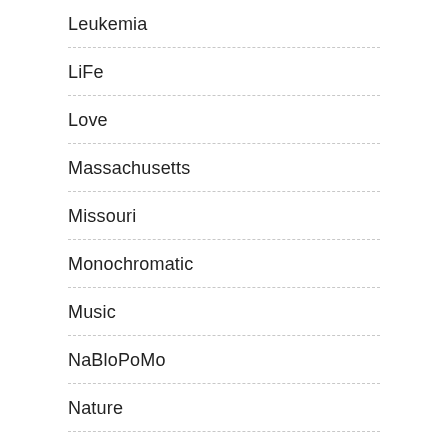Leukemia
LiFe
Love
Massachusetts
Missouri
Monochromatic
Music
NaBloPoMo
Nature
Nevada
Opinion